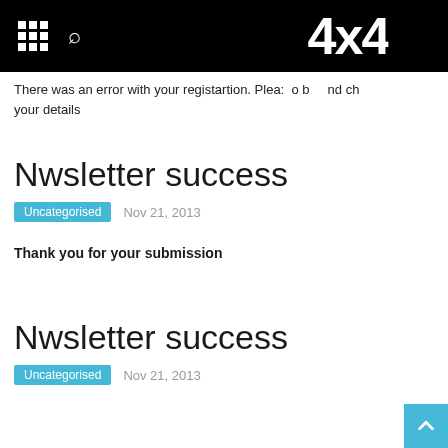[Header bar with grid icon, search icon, and 4x4 logo]
There was an error with your registartion. Plea: o b nd ch your details
Nwsletter success
Uncategorised  Nov 21, 2013
Thank you for your submission
Nwsletter success
Uncategorised  Nov 21, 2013